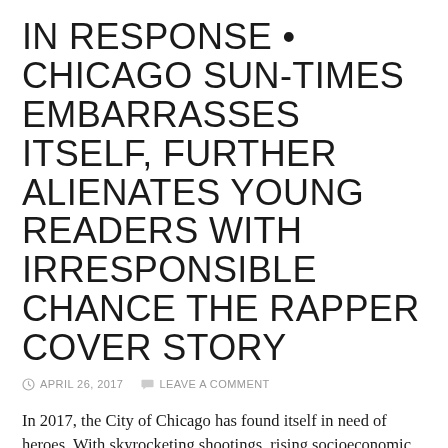IN RESPONSE • CHICAGO SUN-TIMES EMBARRASSES ITSELF, FURTHER ALIENATES YOUNG READERS WITH IRRESPONSIBLE CHANCE THE RAPPER COVER STORY
APRIL 26, 2017   LEAVE A COMMENT
In 2017, the City of Chicago has found itself in need of heroes. With skyrocketing shootings, rising socioeconomic disparities and a city teetering on the edge of bankruptcy where fraud runs rampant, the city is desperate for someone to show us a way forward. Lately, 23-year-old Chancelor Bennett has emerged as the catalyst for what's next by championing